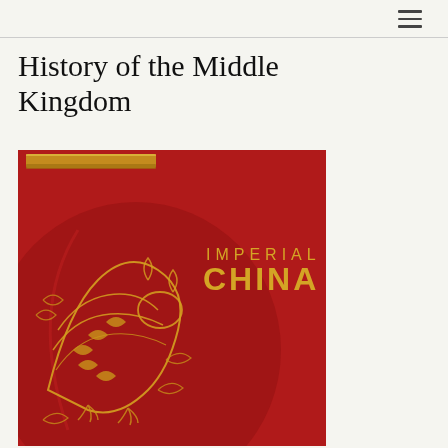≡
History of the Middle Kingdom
[Figure (illustration): Book cover of 'Imperial China' featuring a red background with an ornate golden dragon design on a decorative vase or urn. The text 'IMPERIAL' appears in gold spaced letters at the top right, and 'CHINA' appears in large bold gold letters below it.]